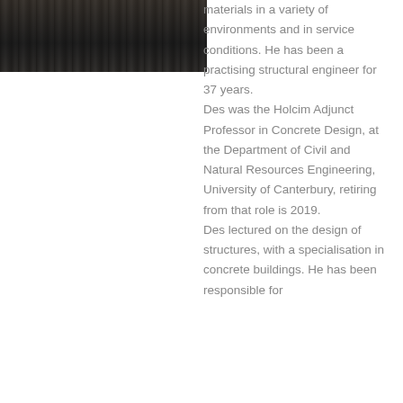[Figure (photo): Dark portrait photograph of a person, partially visible at the top of the left column]
materials in a variety of environments and in service conditions. He has been a practising structural engineer for 37 years. Des was the Holcim Adjunct Professor in Concrete Design, at the Department of Civil and Natural Resources Engineering, University of Canterbury, retiring from that role is 2019. Des lectured on the design of structures, with a specialisation in concrete buildings. He has been responsible for